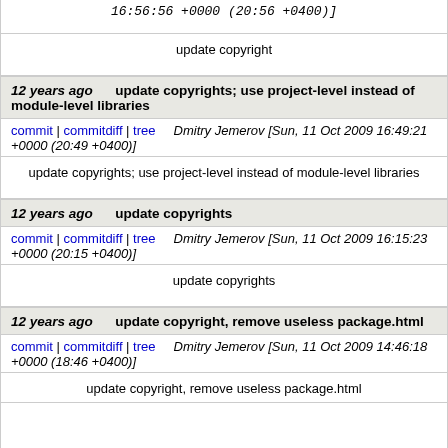16:56:56 +0000 (20:56 +0400)]
update copyright
12 years ago   update copyrights; use project-level instead of module-level libraries
commit | commitdiff | tree   Dmitry Jemerov [Sun, 11 Oct 2009 16:49:21 +0000 (20:49 +0400)]
update copyrights; use project-level instead of module-level libraries
12 years ago   update copyrights
commit | commitdiff | tree   Dmitry Jemerov [Sun, 11 Oct 2009 16:15:23 +0000 (20:15 +0400)]
update copyrights
12 years ago   update copyright, remove useless package.html
commit | commitdiff | tree   Dmitry Jemerov [Sun, 11 Oct 2009 14:46:18 +0000 (18:46 +0400)]
update copyright, remove useless package.html